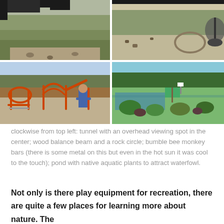[Figure (photo): A 2x2 grid of outdoor park photos: top-left shows a grassy area with a tunnel/overhead viewing structure; top-right shows a rock/gravel area with what appears to be a rock circle or balance beam feature; bottom-left shows orange bumble bee monkey bars/play equipment with a person standing nearby on gravel; bottom-right shows a pond area with native aquatic plants and green shrubs, trees in background.]
clockwise from top left: tunnel with an overhead viewing spot in the center; wood balance beam and a rock circle; bumble bee monkey bars (there is some metal on this but even in the hot sun it was cool to the touch); pond with native aquatic plants to attract waterfowl.
Not only is there play equipment for recreation, there are quite a few places for learning more about nature. The